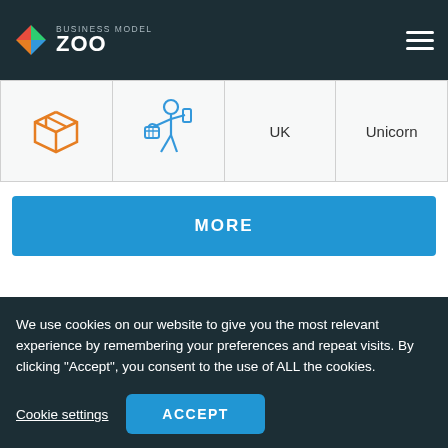BUSINESS MODEL ZOO
[Figure (other): Table row with four cells: a box/package icon (orange outline), a person-with-basket icon (blue outline), text 'UK', text 'Unicorn']
MORE
We use cookies on our website to give you the most relevant experience by remembering your preferences and repeat visits. By clicking "Accept", you consent to the use of ALL the cookies.
Cookie settings
ACCEPT